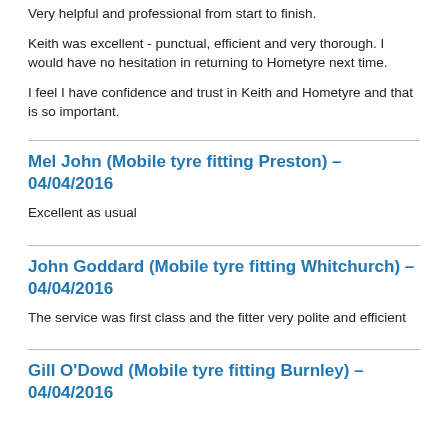Very helpful and professional from start to finish.
Keith was excellent - punctual, efficient and very thorough. I would have no hesitation in returning to Hometyre next time.
I feel I have confidence and trust in Keith and Hometyre and that is so important.
Mel John (Mobile tyre fitting Preston) - 04/04/2016
Excellent as usual
John Goddard (Mobile tyre fitting Whitchurch) - 04/04/2016
The service was first class and the fitter very polite and efficient
Gill O'Dowd (Mobile tyre fitting Burnley) - 04/04/2016